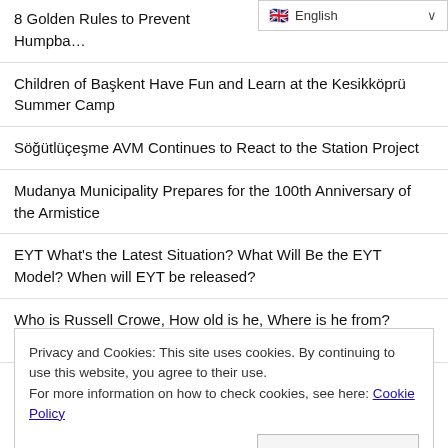8 Golden Rules to Prevent Humpba…
[Figure (screenshot): English language selector dropdown in top right corner]
Children of Başkent Have Fun and Learn at the Kesikköprü Summer Camp
Söğütlüçeşme AVM Continues to React to the Station Project
Mudanya Municipality Prepares for the 100th Anniversary of the Armistice
EYT What's the Latest Situation? What Will Be the EYT Model? When will EYT be released?
Who is Russell Crowe, How old is he, Where is he from? Russell Crowe Movies?
Privacy and Cookies: This site uses cookies. By continuing to use this website, you agree to their use.
For more information on how to check cookies, see here: Cookie Policy
OK